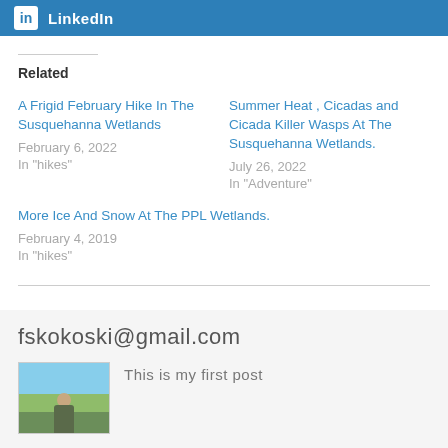LinkedIn
Related
A Frigid February Hike In The Susquehanna Wetlands
February 6, 2022
In "hikes"
Summer Heat , Cicadas and Cicada Killer Wasps At The Susquehanna Wetlands.
July 26, 2022
In "Adventure"
More Ice And Snow At The PPL Wetlands.
February 4, 2019
In "hikes"
fskokoski@gmail.com
This is my first post